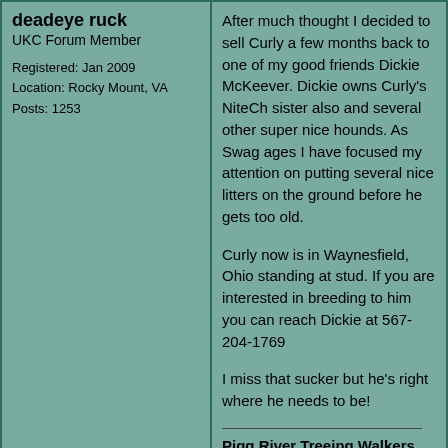deadeye ruck
UKC Forum Member

Registered: Jan 2009
Location: Rocky Mount, VA
Posts: 1253
After much thought I decided to sell Curly a few months back to one of my good friends Dickie McKeever. Dickie owns Curly's NiteCh sister also and several other super nice hounds. As Swag ages I have focused my attention on putting several nice litters on the ground before he gets too old.

Curly now is in Waynesfield, Ohio standing at stud. If you are interested in breeding to him you can reach Dickie at 567-204-1769

I miss that sucker but he's right where he needs to be!

Pigg River Treeing Walkers
🐾🐾

Simon Rucker
(540)-420-1787

GrNiteCh PKC CH 'PR' Candy's Stylish Swag 2014 VA State PKC top 10 and 2022 Super Stakes Sire & 2022 UKC Performance Sire